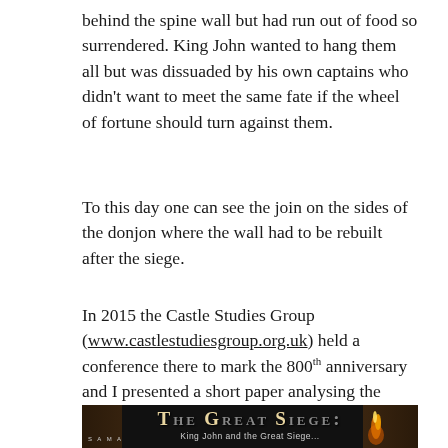behind the spine wall but had run out of food so surrendered. King John wanted to hang them all but was dissuaded by his own captains who didn't want to meet the same fate if the wheel of fortune should turn against them.
To this day one can see the join on the sides of the donjon where the wall had to be rebuilt after the siege.
In 2015 the Castle Studies Group (www.castlestudiesgroup.org.uk) held a conference there to mark the 800th anniversary and I presented a short paper analysing the siege. Now, following an invitation from across the Atlantic, an extended and illustrated version of that talk can be viewed at:
[Figure (photo): Dark banner image showing 'THE GREAT SIEGE: King John and the Great Siege...' title card with dramatic medieval imagery and fire/flame elements on dark background.]